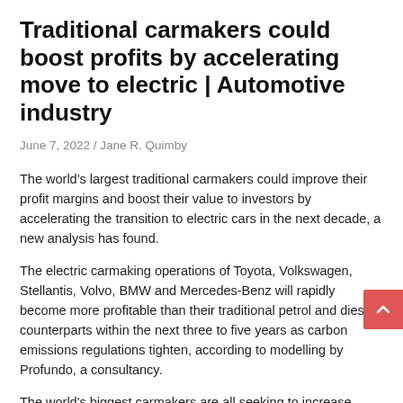Traditional carmakers could boost profits by accelerating move to electric | Automotive industry
June 7, 2022 / Jane R. Quimby
The world's largest traditional carmakers could improve their profit margins and boost their value to investors by accelerating the transition to electric cars in the next decade, a new analysis has found.
The electric carmaking operations of Toyota, Volkswagen, Stellantis, Volvo, BMW and Mercedes-Benz will rapidly become more profitable than their traditional petrol and diesel counterparts within the next three to five years as carbon emissions regulations tighten, according to modelling by Profundo, a consultancy.
The world's biggest carmakers are all seeking to increase electric car production rapidly in the next decade, as laws in major markets including the EU and UK seek to ban